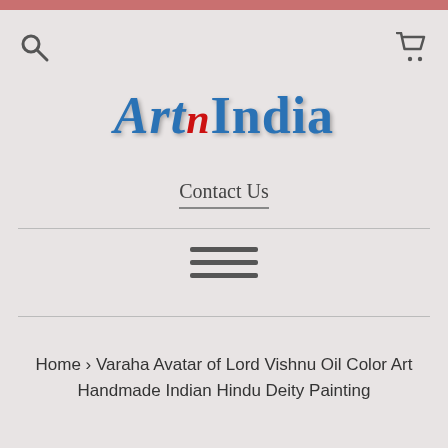Search | Cart
[Figure (logo): ArtnIndia logo in blue serif font with red italic n]
Contact Us
[Figure (other): Hamburger menu icon with three horizontal lines]
Home › Varaha Avatar of Lord Vishnu Oil Color Art Handmade Indian Hindu Deity Painting